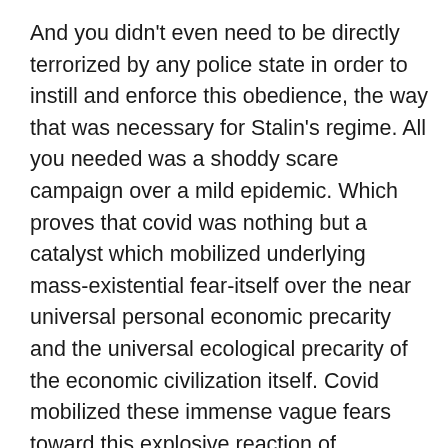And you didn't even need to be directly terrorized by any police state in order to instill and enforce this obedience, the way that was necessary for Stalin's regime. All you needed was a shoddy scare campaign over a mild epidemic. Which proves that covid was nothing but a catalyst which mobilized underlying mass-existential fear-itself over the near universal personal economic precarity and the universal ecological precarity of the economic civilization itself. Covid mobilized these immense vague fears toward this explosive reaction of desperate superstition and propitiatory rites which, it is hoped, if enough people participate, can somehow cause the real existential specter to pass over the house. The face diapers and hex distancing are the equivalent of lamb's blood smeared over the door – pointless from any rational point of view, all-important from the point of view of the